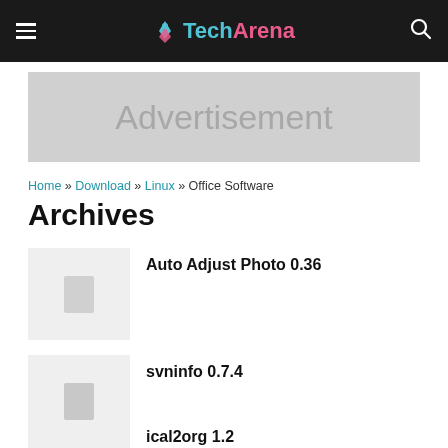TechArena
[Figure (screenshot): Advertisement banner placeholder with light gray background]
Home » Download » Linux » Office Software
Archives
Auto Adjust Photo 0.36
svninfo 0.7.4
ical2org 1.2